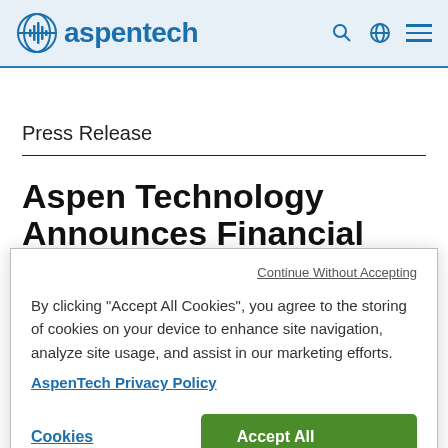aspentech
Press Release
Aspen Technology Announces Financial Results for the
Continue Without Accepting
By clicking “Accept All Cookies”, you agree to the storing of cookies on your device to enhance site navigation, analyze site usage, and assist in our marketing efforts.
AspenTech Privacy Policy
Cookies Settings
Accept All Cookies